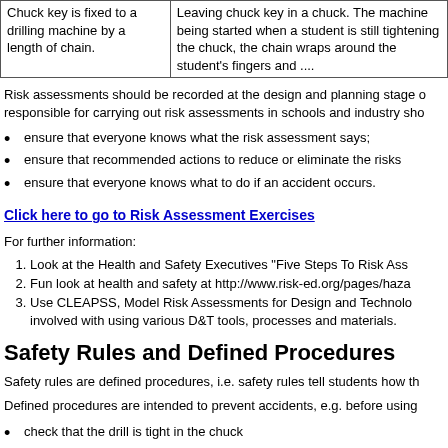|  |  |
| --- | --- |
| Chuck key is fixed to a drilling machine by a length of chain. | Leaving chuck key in a chuck. The machine being started when a student is still tightening the chuck, the chain wraps around the student's fingers and .... |
Risk assessments should be recorded at the design and planning stage of a project. Those responsible for carrying out risk assessments in schools and industry sho...
ensure that everyone knows what the risk assessment says;
ensure that recommended actions to reduce or eliminate the risks...
ensure that everyone knows what to do if an accident occurs.
Click here to go to Risk Assessment Exercises
For further information:
Look at the Health and Safety Executives "Five Steps To Risk Ass...
Fun look at health and safety at http://www.risk-ed.org/pages/haza...
Use CLEAPSS, Model Risk Assessments for Design and Technolo... involved with using various D&T tools, processes and materials.
Safety Rules and Defined Procedures
Safety rules are defined procedures, i.e. safety rules tell students how th...
Defined procedures are intended to prevent accidents, e.g. before using...
check that the drill is tight in the chuck
check that the chuck key is not left in the chuck
check the speed setting of the drilling machine
check that guards are in place